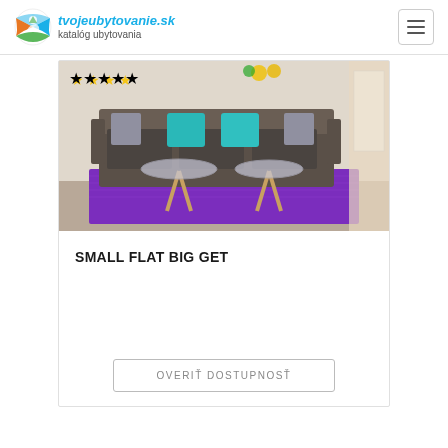tvojeubytovanie.sk katalóg ubytovania
[Figure (photo): Interior photo of a living room with a grey sofa, teal/turquoise cushions, two glass-top wooden coffee tables, and a vibrant purple rug. Yellow star ratings visible in top-left corner.]
SMALL FLAT BIG GET
OVERIŤ DOSTUPNOSŤ